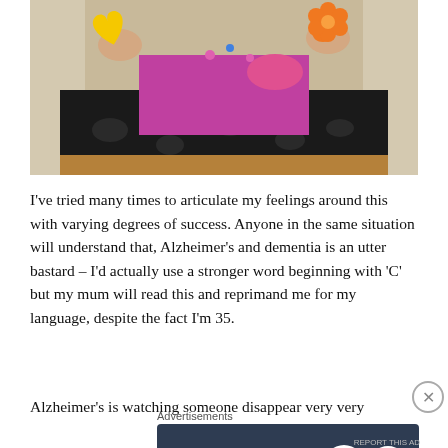[Figure (photo): A person sitting in a chair holding colorful foam or felt shapes — a yellow heart and an orange flower — against a purple top and black floral-patterned clothing. A wooden table edge is visible at the bottom of the image.]
I've tried many times to articulate my feelings around this with varying degrees of success. Anyone in the same situation will understand that, Alzheimer's and dementia is an utter bastard – I'd actually use a stronger word beginning with 'C' but my mum will read this and reprimand me for my language, despite the fact I'm 35.
Alzheimer's is watching someone disappear very very
Advertisements
[Figure (screenshot): Advertisement banner with dark blue background. Text reads: 'Opinions. We all have them!' with WordPress logo (W in circle) and another circular logo on the right.]